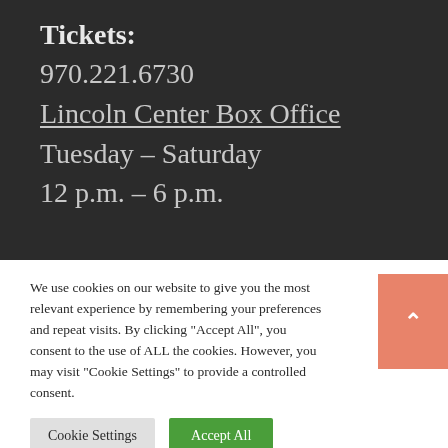Tickets:
970.221.6730
Lincoln Center Box Office
Tuesday – Saturday
12 p.m. – 6 p.m.
We use cookies on our website to give you the most relevant experience by remembering your preferences and repeat visits. By clicking "Accept All", you consent to the use of ALL the cookies. However, you may visit "Cookie Settings" to provide a controlled consent.